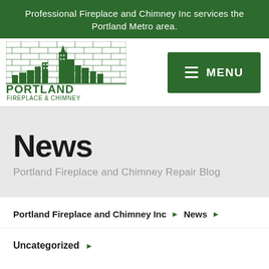Professional Fireplace and Chimney Inc services the Portland Metro area.
[Figure (logo): Portland Fireplace & Chimney logo with city skyline illustration in dark green]
MENU
News
Portland Fireplace and Chimney Repair Blog
Portland Fireplace and Chimney Inc ► News ►
Uncategorized ►